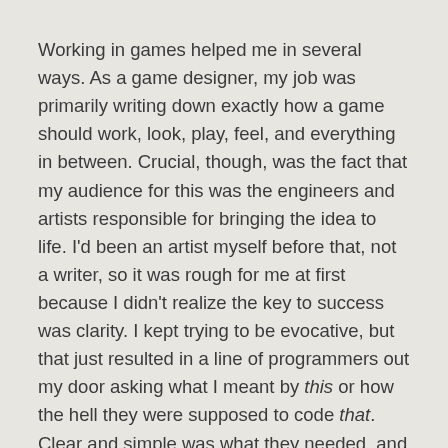Working in games helped me in several ways. As a game designer, my job was primarily writing down exactly how a game should work, look, play, feel, and everything in between. Crucial, though, was the fact that my audience for this was the engineers and artists responsible for bringing the idea to life. I'd been an artist myself before that, not a writer, so it was rough for me at first because I didn't realize the key to success was clarity. I kept trying to be evocative, but that just resulted in a line of programmers out my door asking what I meant by this or how the hell they were supposed to code that. Clear and simple was what they needed, and writing like that for many years helped me streamline my style.
I'm always intrigued when I hear someone has a 3D printer. I've yet to wrap my head around its